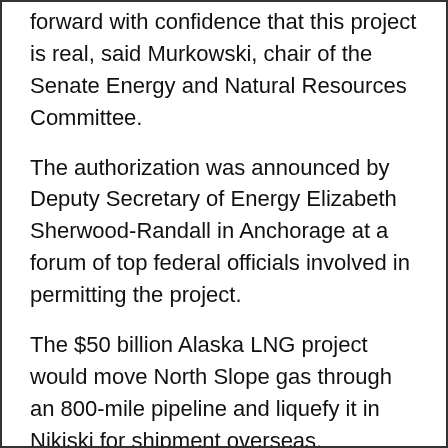forward with confidence that this project is real, said Murkowski, chair of the Senate Energy and Natural Resources Committee.
The authorization was announced by Deputy Secretary of Energy Elizabeth Sherwood-Randall in Anchorage at a forum of top federal officials involved in permitting the project.
The $50 billion Alaska LNG project would move North Slope gas through an 800-mile pipeline and liquefy it in Nikiski for shipment overseas.
First production is not expected for another 10 years.
The conditional approval can't be finalized until